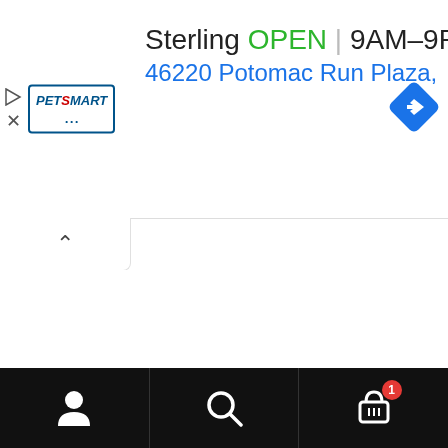[Figure (screenshot): PetSmart store banner showing logo, Sterling location open status, hours 9AM-9PM, address 46220 Potomac Run Plaza, navigation diamond icon, play and close icons on left]
Sterling OPEN 9AM–9PM
46220 Potomac Run Plaza,
[Figure (screenshot): Collapse/chevron-up button bar]
[Figure (screenshot): Bottom navigation bar with account icon, search icon, and cart icon with badge showing 1]